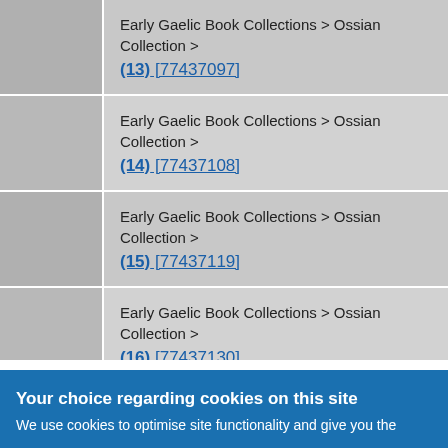|  |  |
| --- | --- |
|  | Early Gaelic Book Collections > Ossian Collection > (13) [77437097] |
|  | Early Gaelic Book Collections > Ossian Collection > (14) [77437108] |
|  | Early Gaelic Book Collections > Ossian Collection > (15) [77437119] |
|  | Early Gaelic Book Collections > Ossian Collection > (16) [77437130] |
Your choice regarding cookies on this site
We use cookies to optimise site functionality and give you the